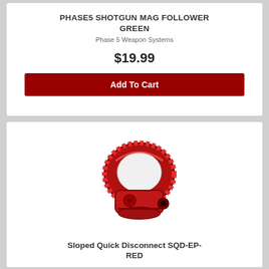PHASE5 SHOTGUN MAG FOLLOWER GREEN
Phase 5 Weapon Systems
$19.99
Add To Cart
[Figure (photo): Red anodized aluminum sloped quick disconnect sling mount ring, viewed from slight angle showing the loop and attachment point]
Sloped Quick Disconnect SQD-EP-RED